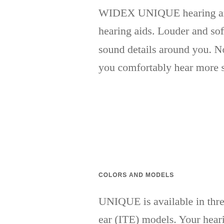WIDEX UNIQUE hearing aids push the boundaries of what you can hear with hearing aids. Louder and softer sounds. More conversation. All the important sound details around you. No matter what situation you're in, UNIQUE lets you comfortably hear more sounds wherever you are, whatever you're doing.
COLORS AND MODELS
UNIQUE is available in three Behind-the-ear (BTE) models and three In-the-ear (ITE) models. Your hearing care